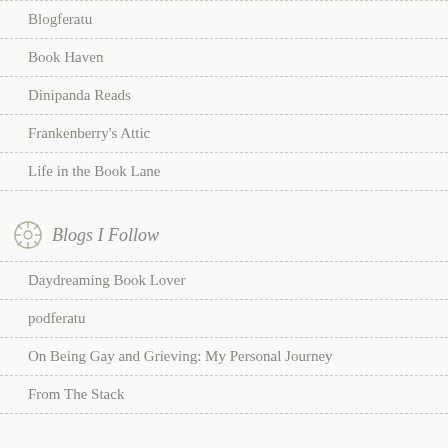Blogferatu
Book Haven
Dinipanda Reads
Frankenberry's Attic
Life in the Book Lane
Blogs I Follow
Daydreaming Book Lover
podferatu
On Being Gay and Grieving: My Personal Journey
From The Stack